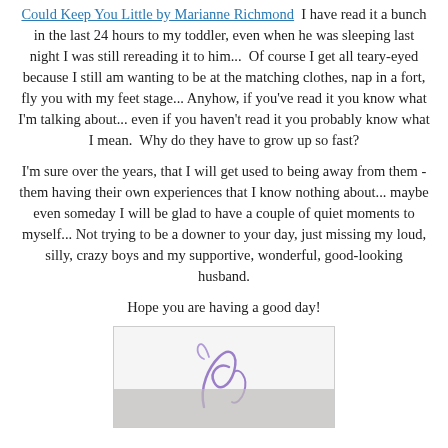Could Keep You Little by Marianne Richmond  I have read it a bunch in the last 24 hours to my toddler, even when he was sleeping last night I was still rereading it to him...  Of course I get all teary-eyed because I still am wanting to be at the matching clothes, nap in a fort, fly you with my feet stage... Anyhow, if you've read it you know what I'm talking about... even if you haven't read it you probably know what I mean.  Why do they have to grow up so fast?
I'm sure over the years, that I will get used to being away from them - them having their own experiences that I know nothing about... maybe even someday I will be glad to have a couple of quiet moments to myself... Not trying to be a downer to your day, just missing my loud, silly, crazy boys and my supportive, wonderful, good-looking husband.
Hope you are having a good day!
[Figure (illustration): A partial image showing what appears to be a decorative signature or cursive lettering in purple/lavender color on a white background, with a gray bar at the bottom.]